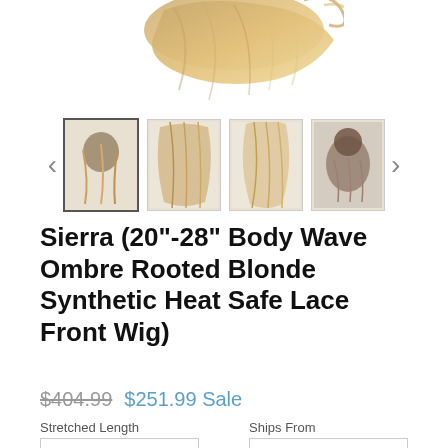[Figure (photo): Main product image showing blonde ombre body wave hair/wig top portion]
[Figure (photo): Thumbnail gallery row with 4 product images and left/right navigation arrows. First thumbnail selected/highlighted.]
Sierra (20"-28" Body Wave Ombre Rooted Blonde Synthetic Heat Safe Lace Front Wig)
$404.99  $251.99 Sale
Stretched Length
Ships From